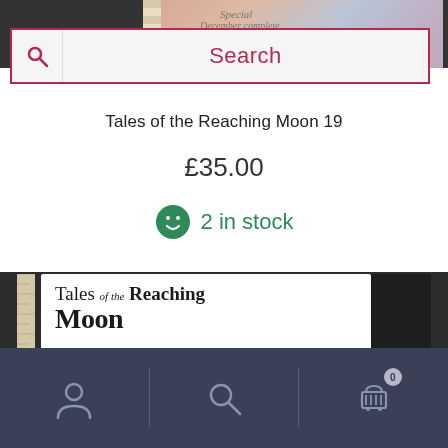[Figure (screenshot): Top portion of a comic book cover partially visible at top of page]
[Figure (screenshot): Search bar with magnifying glass icon on left and 'Search' placeholder text in dark red/crimson color, with crimson border]
Tales of the Reaching Moon 19
£35.00
2 in stock
[Figure (photo): Photo of 'Tales of the Reaching Moon Issue 14' comic book cover showing title text and illustrated characters, placed on dark background with ruler visible on left]
[Figure (screenshot): Bottom navigation bar with user/account icon, search icon, and shopping basket icon with badge showing 0]